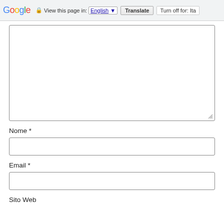Google  View this page in: English  Translate  Turn off for: Ita
[Figure (screenshot): Large empty textarea input field with resize handle at bottom-right corner]
Nome *
[Figure (screenshot): Single-line text input field for Nome (Name)]
Email *
[Figure (screenshot): Single-line text input field for Email]
Sito Web